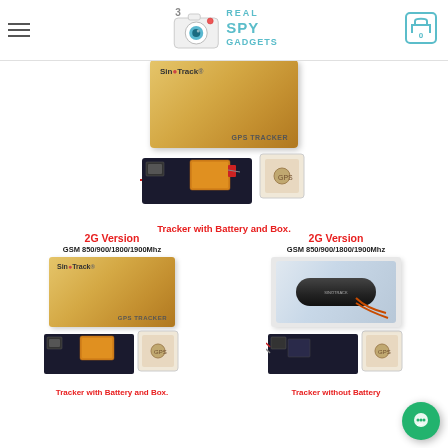Real Spy Gadgets - navigation header with logo and cart
[Figure (photo): SinoTrack GPS Tracker gold box packaging and PCB board with battery - top product image]
Tracker with Battery and Box.
2G Version GSM 850/900/1800/1900Mhz (left column)
[Figure (photo): SinoTrack GPS Tracker gold box and PCB board - left product]
Tracker with Battery and Box.
2G Version GSM 850/900/1800/1900Mhz (right column)
[Figure (photo): GPS Tracker device in packaging and PCB board - right product without battery]
Tracker without Battery